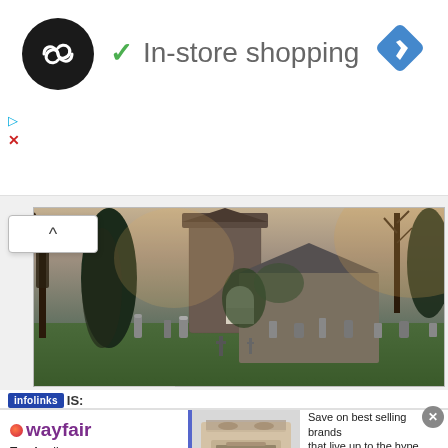[Figure (screenshot): Web page screenshot showing a Google Maps-style listing for 'In-store shopping' with a dark circle logo with infinity/loop symbol, a green checkmark, navigation diamond icon top right, and ad indicators on left side.]
[Figure (photo): Photograph of an old stone church with a round tower, surrounded by a graveyard with tombstones, bare winter trees, and green grass. Warm sepia/golden tones in sky and tree tops.]
infolinks IS:
[Figure (screenshot): Wayfair advertisement banner: wayfair logo, 'Top Appliances Low Prices' text, stove appliance image, 'Save on best selling brands that live up to the hype' text, purple 'Shop now' button, close X button.]